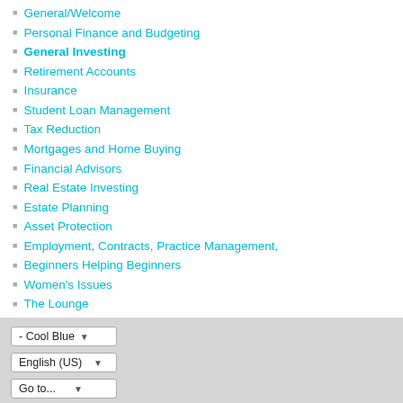General/Welcome
Personal Finance and Budgeting
General Investing
Retirement Accounts
Insurance
Student Loan Management
Tax Reduction
Mortgages and Home Buying
Financial Advisors
Real Estate Investing
Estate Planning
Asset Protection
Employment, Contracts, Practice Management,
Beginners Helping Beginners
Women's Issues
The Lounge
- Cool Blue
English (US)
Go to...
Copyright 2020 - The White Coat Investor, LLC Powered by vBulletin® Version 5.6.9 Copyright © 2022 MH Sub I, LLC dba vBulletin. All rights reserved. All times are GMT-7. This page was generated at 09:12 PM.